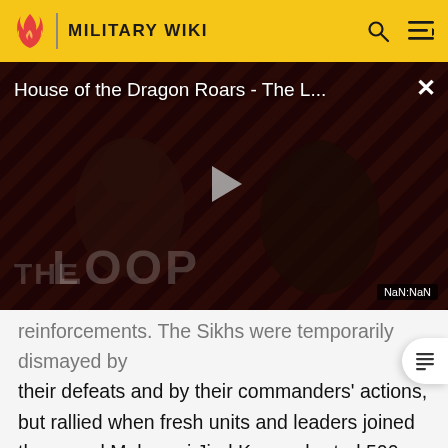MILITARY WIKI
[Figure (screenshot): Video thumbnail for 'House of the Dragon Roars - The L...' with a play button in the center. Dark background with diagonal red and black stripes. Two figures visible in shadow. THE LOOP text visible at bottom left. NaN:NaN timestamp. Close (X) button top right.]
reinforcements. The Sikhs were temporarily dismayed by their defeats and by their commanders' actions, but rallied when fresh units and leaders joined them, and Maharani Jind Kaur exhorted 500 selected officers to make renewed efforts.